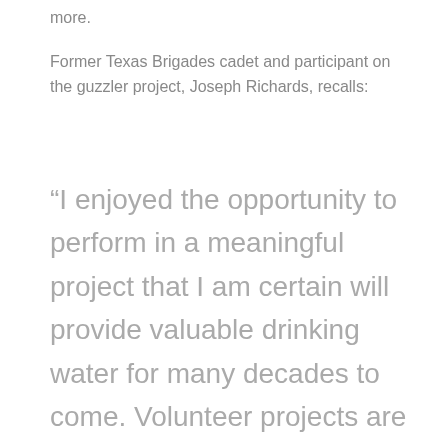more.
Former Texas Brigades cadet and participant on the guzzler project, Joseph Richards, recalls:
“I enjoyed the opportunity to perform in a meaningful project that I am certain will provide valuable drinking water for many decades to come. Volunteer projects are the easiest way to gain